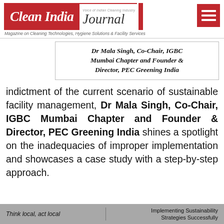Clean India Journal — Magazine on Cleaning Technologies, Hygiene Solutions & Facility Services
Dr Mala Singh, Co-Chair, IGBC Mumbai Chapter and Founder & Director, PEC Greening India
indictment of the current scenario of sustainable facility management, Dr Mala Singh, Co-Chair, IGBC Mumbai Chapter and Founder & Director, PEC Greening India shines a spotlight on the inadequacies of improper implementation and showcases a case study with a step-by-step approach.
Think local, act local    Implementing Sustainability Strategies Successfully